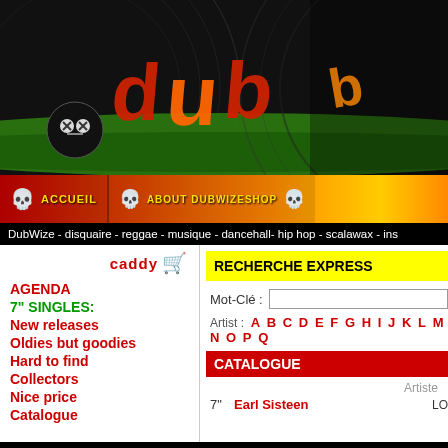[Figure (logo): DubWize shop logo banner with reggae-themed cartoon characters, vinyl record background, red/orange/yellow lettering on black and green background]
ACCUEIL   ABOUT DUBWIZESHOP
DubWize - disquaire - reggae - musique - dancehall- hip hop - scalawax - ins
[Figure (illustration): Caddy shopping cart icon with text 'caddy']
AGENDA
7" SINGLES:
New releases
Oldies but goodies
Hard to find
Collectors
Nice price
Catalogue
RECHERCHE EXPRESS
Mot-Clé :
Artist : A B C D E F G H I J K L M N O P Q
CATALOGUE
Artiste
7"   Earl Sisteen   LO